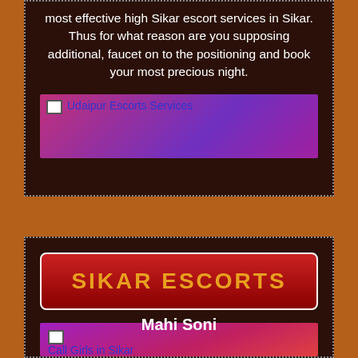most effective high Sikar escort services in Sikar. Thus for what reason are you supposing additional, faucet on to the positioning and book your most precious night.
[Figure (photo): Broken image placeholder with alt text 'Udaipur Escorts Services' on a purple-pink gradient background]
SIKAR ESCORTS
[Figure (photo): Broken image placeholder with alt text 'Call Girls in Sikar' on a purple-to-red gradient background, with 'Mahi Soni' text overlaid]